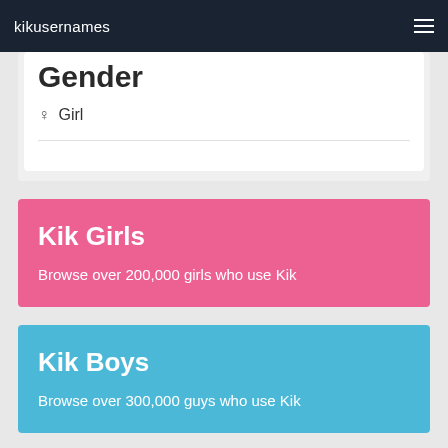kikusernames
Gender
♀ Girl
Kik Girls
Browse over 200,000 girls who use Kik
Kik Boys
Browse over 300,000 guys who use Kik